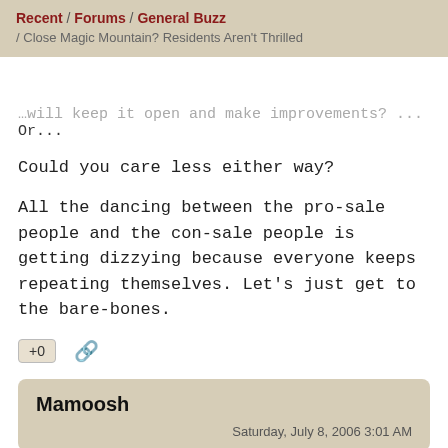Recent / Forums / General Buzz / Close Magic Mountain? Residents Aren't Thrilled
...will keep it open and make improvements? ...Or...
Could you care less either way?
All the dancing between the pro-sale people and the con-sale people is getting dizzying because everyone keeps repeating themselves. Let's just get to the bare-bones.
+0 [link icon]
Mamoosh
Saturday, July 8, 2006 3:01 AM
What I would like to see happen: sold to someone that will keep it open and make